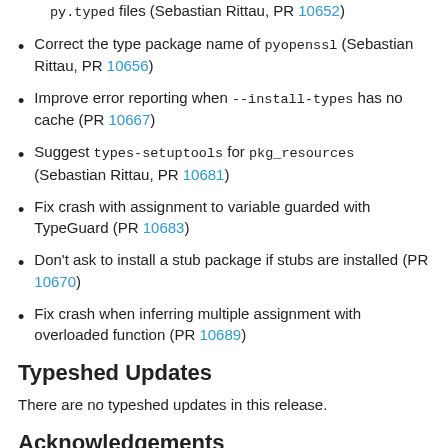py.typed files (Sebastian Rittau, PR 10652)
Correct the type package name of pyopenssl (Sebastian Rittau, PR 10656)
Improve error reporting when --install-types has no cache (PR 10667)
Suggest types-setuptools for pkg_resources (Sebastian Rittau, PR 10681)
Fix crash with assignment to variable guarded with TypeGuard (PR 10683)
Don't ask to install a stub package if stubs are installed (PR 10670)
Fix crash when inferring multiple assignment with overloaded function (PR 10689)
Typeshed Updates
There are no typeshed updates in this release.
Acknowledgements